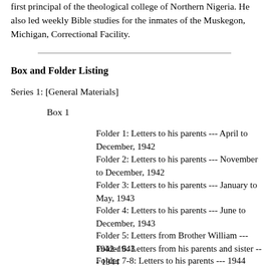first principal of the theological college of Northern Nigeria. He also led weekly Bible studies for the inmates of the Muskegon, Michigan, Correctional Facility.
Box and Folder Listing
Series 1: [General Materials]
Box 1
Folder 1: Letters to his parents --- April to December, 1942
Folder 2: Letters to his parents --- November to December, 1942
Folder 3: Letters to his parents --- January to May, 1943
Folder 4: Letters to his parents --- June to December, 1943
Folder 5: Letters from Brother William --- 1942-1943
Folder 6: Letters from his parents and sister --- 1944
Folder 7-8: Letters to his parents --- 1944
Folder 9: Letters received from parents whose sons were killed in action --- 1944
Box 2